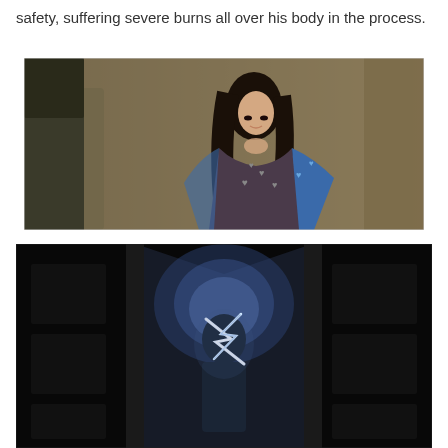safety, suffering severe burns all over his body in the process.
[Figure (photo): A young Asian woman with long dark hair wearing a patterned top with hearts stands against a wall in dim lighting, looking forward. Another figure is partially visible on the left side of the frame.]
[Figure (photo): A dark scene showing a figure surrounded by bright lightning bolts or electrical energy inside what appears to be a doorway or frame, set against a nearly black background.]